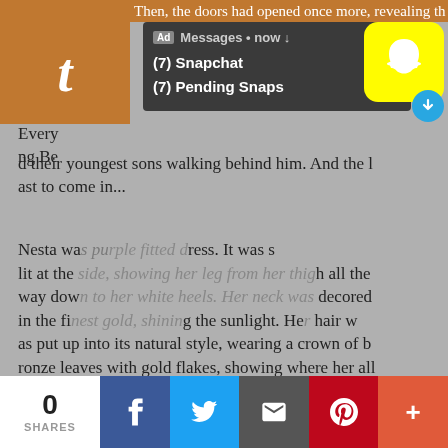Then, the doors had opened once more, revealing th
[Figure (screenshot): Snapchat ad notification popup showing '(7) Snapchat' and '(7) Pending Snaps' with Snapchat ghost icon on yellow background]
Every [text behind popup] ng Be[text behind popup] d their youngest sons walking behind him. And the last to come in...
Nesta was pu[text behind dialog]ress. It was s lit at the side, showing her leg from her thigh all the way down to her white heels. Her neck was decored in the finest gold, shining the sunlight. Her hair was put up into its natural style, wearing a crown of bronze leaves with gold flakes, showing where her allegiance lay.
[Figure (screenshot): Modal dialog overlay with heading 'Click OK To Continue' and a blue 'OK' button]
Her arm was linked with Eris's, the ruby wedding rin
| 0 SHARES | Facebook | Twitter | Email | Pinterest | More |
| --- | --- | --- | --- | --- | --- |
| 0 | f | bird-icon | envelope-icon | P | + |